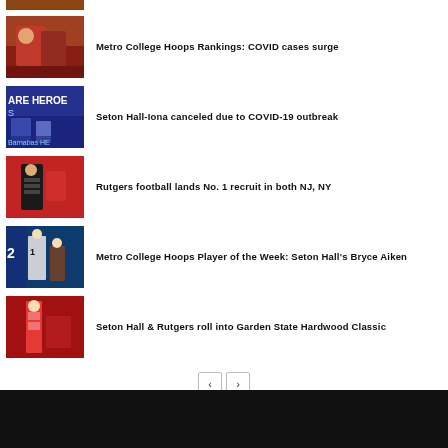[Figure (photo): Partial sports photo at top, cropped]
Metro College Hoops Rankings: COVID cases surge
Seton Hall-Iona canceled due to COVID-19 outbreak
Rutgers football lands No. 1 recruit in both NJ, NY
Metro College Hoops Player of the Week: Seton Hall's Bryce Aiken
Seton Hall & Rutgers roll into Garden State Hardwood Classic